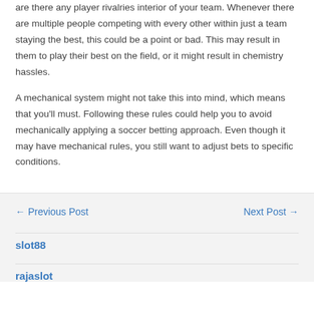are there any player rivalries interior of your team. Whenever there are multiple people competing with every other within just a team staying the best, this could be a point or bad. This may result in them to play their best on the field, or it might result in chemistry hassles.
A mechanical system might not take this into mind, which means that you'll must. Following these rules could help you to avoid mechanically applying a soccer betting approach. Even though it may have mechanical rules, you still want to adjust bets to specific conditions.
← Previous Post    Next Post →
slot88
rajaslot